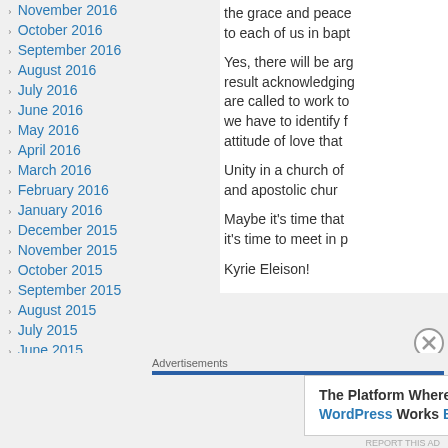November 2016
October 2016
September 2016
August 2016
July 2016
June 2016
May 2016
April 2016
March 2016
February 2016
January 2016
December 2015
November 2015
October 2015
September 2015
August 2015
July 2015
June 2015
the grace and peace to each of us in bapt
Yes, there will be arg result acknowledging are called to work to we have to identify f attitude of love that
Unity in a church of and apostolic chur
Maybe it's time that it's time to meet in p
Kyrie Eleison!
Advertisements
The Platform Where WordPress Works Best
Pressable